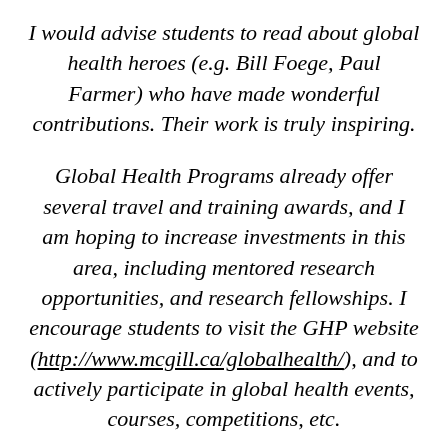I would advise students to read about global health heroes (e.g. Bill Foege, Paul Farmer) who have made wonderful contributions. Their work is truly inspiring.
Global Health Programs already offer several travel and training awards, and I am hoping to increase investments in this area, including mentored research opportunities, and research fellowships. I encourage students to visit the GHP website (http://www.mcgill.ca/globalhealth/), and to actively participate in global health events, courses, competitions, etc.
There will be plenty of training opportunities. For example, colleagues in Epidemiology & Biostatistics are now working on a 'Global Health Option' for all graduate students. In addition